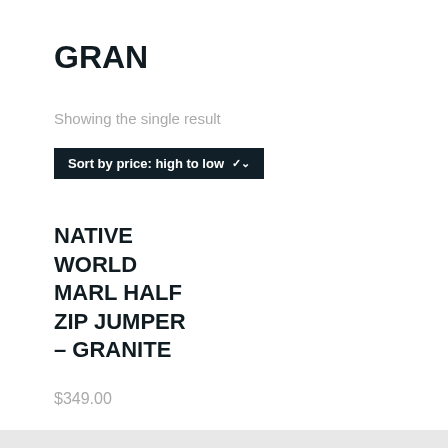GRAN
Showing the single result
Sort by price: high to low ▾
NATIVE WORLD MARL HALF ZIP JUMPER – GRANITE
$349.00